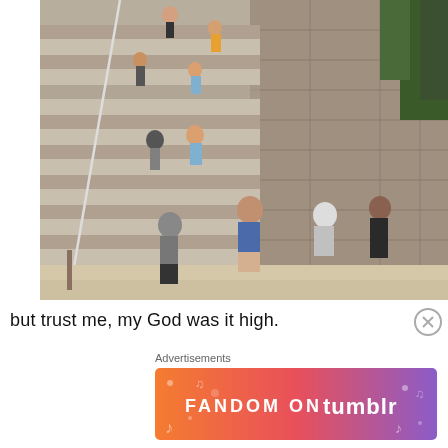[Figure (photo): Tourists climbing the steep stone steps of a Mayan pyramid (likely Coba, Mexico). Many people of various ages are climbing the large stone staircase. Sandy ground at the base, dense jungle trees visible on the right.]
but trust me, my God was it high.
Advertisements
[Figure (other): Fandom on Tumblr advertisement banner with colorful gradient background (orange to purple) and decorative music note and heart icons.]